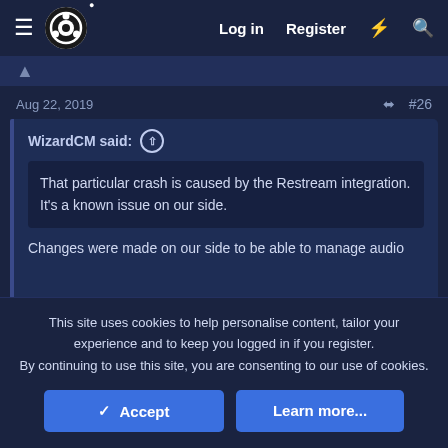OBS Forum — Log in  Register
Aug 22, 2019  #26
WizardCM said: ⊕
That particular crash is caused by the Restream integration. It's a known issue on our side.
Changes were made on our side to be able to manage audio
This site uses cookies to help personalise content, tailor your experience and to keep you logged in if you register.
By continuing to use this site, you are consenting to our use of cookies.
✓ Accept    Learn more...